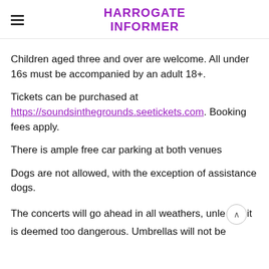HARROGATE INFORMER
Children aged three and over are welcome. All under 16s must be accompanied by an adult 18+.
Tickets can be purchased at https://soundsinthegrounds.seetickets.com. Booking fees apply.
There is ample free car parking at both venues
Dogs are not allowed, with the exception of assistance dogs.
The concerts will go ahead in all weathers, unless it is deemed too dangerous. Umbrellas will not be